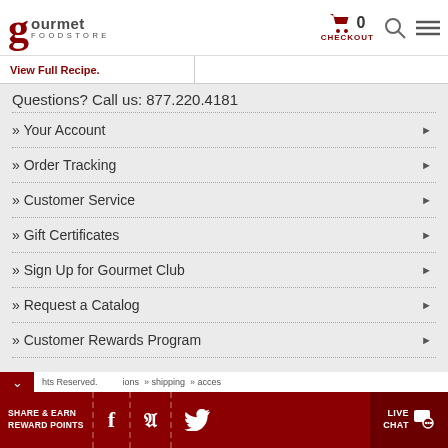gourmet FOODSTORE | CHECKOUT 0 | Search | Menu
View Full Recipe.
Questions? Call us: 877.220.4181
» Your Account
» Order Tracking
» Customer Service
» Gift Certificates
» Sign Up for Gourmet Club
» Request a Catalog
» Customer Rewards Program
SHARE & EARN REWARD POINTS | Facebook | Pinterest | Twitter | hts Reserved. | ions » shipping » acces | LIVE CHAT